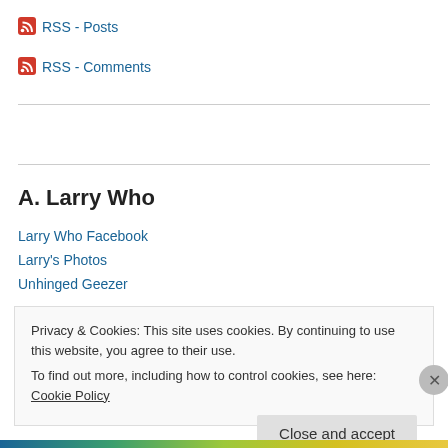RSS - Posts
RSS - Comments
A. Larry Who
Larry Who Facebook
Larry's Photos
Unhinged Geezer
Privacy & Cookies: This site uses cookies. By continuing to use this website, you agree to their use. To find out more, including how to control cookies, see here: Cookie Policy